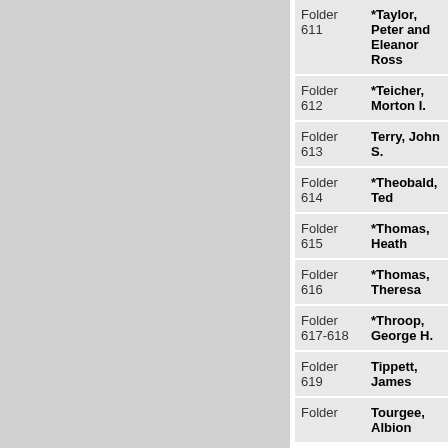| Folder | Name |
| --- | --- |
| Folder 611 | *Taylor, Peter and Eleanor Ross |
| Folder 612 | *Teicher, Morton I. |
| Folder 613 | Terry, John S. |
| Folder 614 | *Theobald, Ted |
| Folder 615 | *Thomas, Heath |
| Folder 616 | *Thomas, Theresa |
| Folder 617-618 | *Throop, George H. |
| Folder 619 | Tippett, James |
| Folder | Tourgee, Albion |